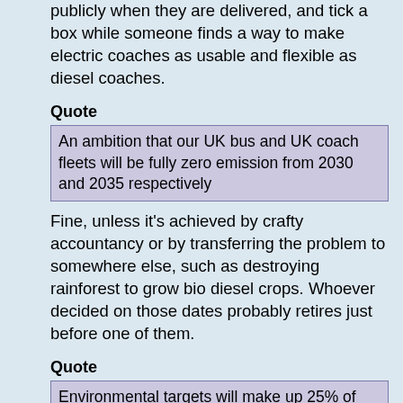publicly when they are delivered, and tick a box while someone finds a way to make electric coaches as usable and flexible as diesel coaches.
Quote
An ambition that our UK bus and UK coach fleets will be fully zero emission from 2030 and 2035 respectively
Fine, unless it's achieved by crafty accountancy or by transferring the problem to somewhere else, such as destroying rainforest to grow bio diesel crops. Whoever decided on those dates probably retires just before one of them.
Quote
Environmental targets will make up 25% of senior executive Long Term Incentive Plans.
I have worked in an environment where the achievement of targets affects salary. All else goes out the window in what was